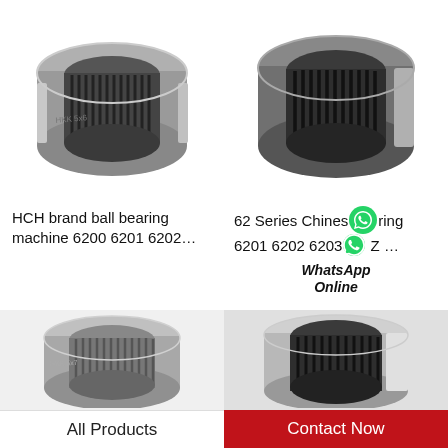[Figure (photo): Needle roller bearing, steel gray, angled view showing inner cage with rollers, top-left]
[Figure (photo): Needle roller bearing, dark steel, top-down angled view showing inner cage and rollers, top-right]
HCH brand ball bearing machine 6200 6201 6202…
62 Series Chinese bearing 6201 6202 6203… Z …
WhatsApp Online
[Figure (photo): Needle roller bearing, light gray, angled view, bottom-left]
[Figure (photo): Needle roller bearing, silver/steel, angled view showing inner cage, bottom-right]
All Products
Contact Now